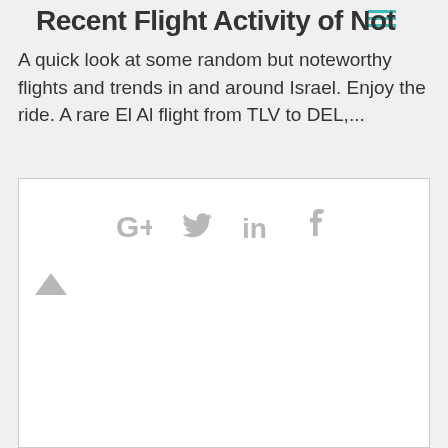Recent Flight Activity of Note
A quick look at some random but noteworthy flights and trends in and around Israel. Enjoy the ride. A rare El Al flight from TLV to DEL,...
[Figure (screenshot): Social sharing widget box with Google+, Twitter, LinkedIn, and Facebook icons rendered in grey, and a grey upward chevron arrow below them. White background with light grey border.]